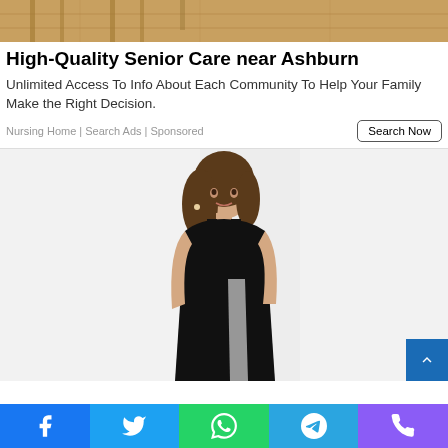[Figure (photo): Partial view of a wooden floor room with chairs in background (advertisement image)]
High-Quality Senior Care near Ashburn
Unlimited Access To Info About Each Community To Help Your Family Make the Right Decision.
Nursing Home | Search Ads | Sponsored
[Figure (photo): Woman in black dress posing for photo]
[Figure (infographic): Social media sharing bar with Facebook, Twitter, WhatsApp, Telegram, and Phone icons]